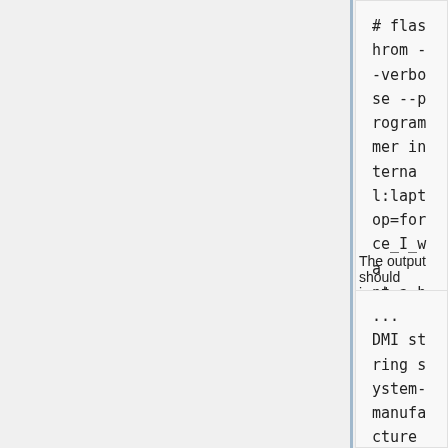# flashrom --verbose --programmer internal:laptop=force_I_want_a_brick >flashrom_info.log
The output should involve:
...
DMI string system-manufacturer: "Apple Inc."
DMI string system-product-name: "MacBook2,1"
DMI string system-version: "1.0"
DMI string baseboard-manufacturer: "Apple Inc."
DMI string baseboard-product-name: "Mac-F4208CAA"
DMI string baseboard-version: "PVT"
DMI string chassis-type: